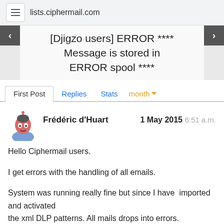lists.ciphermail.com
[Djigzo users] ERROR **** Message is stored in ERROR spool ****
First Post   Replies   Stats   month
Frédéric d'Huart   1 May 2015  6:51 a.m.
Hello Ciphermail users.

I get errors with the handling of all emails.

System was running really fine but since I have  imported and activated
the xml DLP patterns. All mails drops into errors.